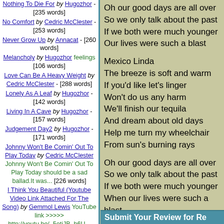Nothing To Die For by Hugozhor - [235 words]
No Comfort by Cedric McClester - [253 words]
Never Grow Up by Annacat - [260 words]
Melancholy by Hugozhor feelings [106 words]
Love Can Be A Heavy Weight by Cedric McClester - [288 words]
Lonely As A Leaf by Hugozhor - [142 words]
Living In A Cave by Hugozhor - [157 words]
Judgement Day2 by Hugozhor - [171 words]
Johnny Won't Be Comin' Out To Play Today by Cedric McClester Johnny Won't Be Comin' Out To Play Today should be a sad ballad.It was... [226 words]
I Think You Beautiful (Youtube Video Link Attached For The Song) by Gemmol Lewis YouTube link >>>>> http://youtu.be/_5otjJB_b6U... [504 words]
Oh our good days are all over
So we only talk about the past
If we both were much younger
Our lives were such a blast

Mexico Linda
The breeze is soft and warm
If you'd like let's linger
Won't do us any harm
We'll finish our tequila
And dream about old days
Help me turn my wheelchair
From sun's burning rays

Oh our good days are all over
So we only talk about the past
If we both were much younger
When our lives were such a blast
Mexico Mexico Mexico Linda
Mexico Mexico Mexico Linda
Our lives were such a blast
Submit Your Review for Re